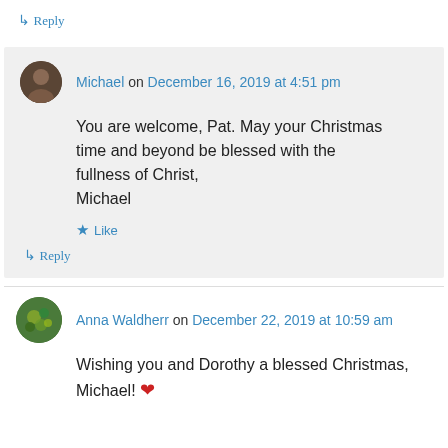↳ Reply
Michael on December 16, 2019 at 4:51 pm

You are welcome, Pat. May your Christmas time and beyond be blessed with the fullness of Christ,
Michael

★ Like

↳ Reply
Anna Waldherr on December 22, 2019 at 10:59 am

Wishing you and Dorothy a blessed Christmas, Michael! ❤